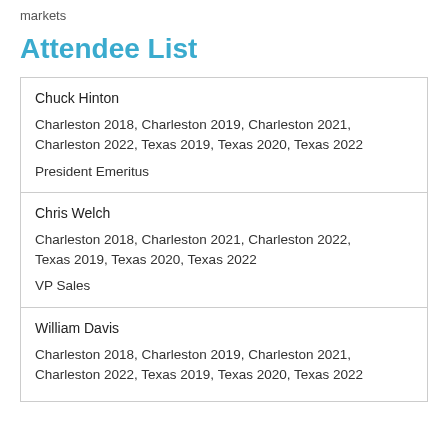markets
Attendee List
| Chuck Hinton | Charleston 2018, Charleston 2019, Charleston 2021, Charleston 2022, Texas 2019, Texas 2020, Texas 2022 | President Emeritus |
| Chris Welch | Charleston 2018, Charleston 2021, Charleston 2022, Texas 2019, Texas 2020, Texas 2022 | VP Sales |
| William Davis | Charleston 2018, Charleston 2019, Charleston 2021, Charleston 2022, Texas 2019, Texas 2020, Texas 2022 |  |